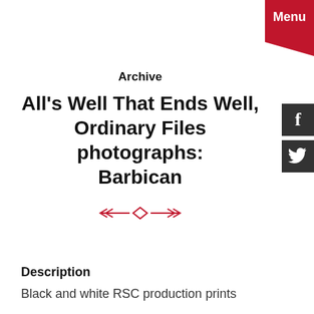Menu
Archive
All's Well That Ends Well, Ordinary Files photographs: Barbican
Description
Black and white RSC production prints
Finding No